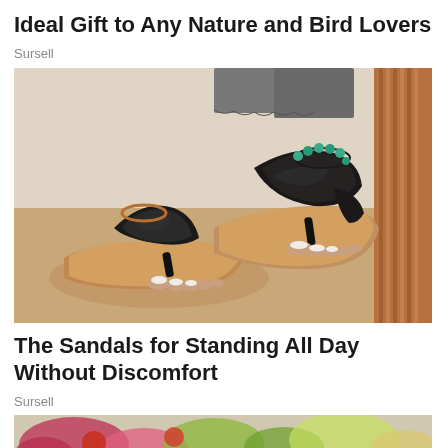Ideal Gift to Any Nature and Bird Lovers
Sursell
[Figure (photo): Photo of black embossed thong sandals with tan soles on a person's feet, one foot showing toenails with white nail polish, wearing ankle bracelets including turquoise beads.]
The Sandals for Standing All Day Without Discomfort
Sursell
[Figure (photo): Partial view of a colorful floral arrangement at the bottom of the page.]